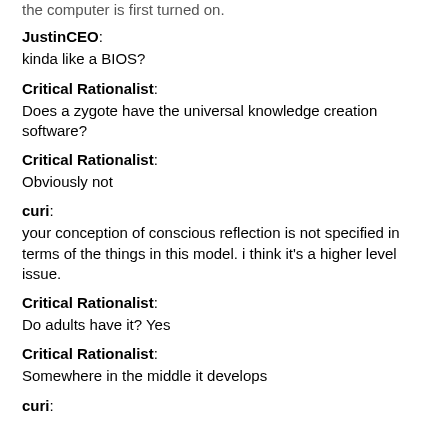the computer is first turned on.
JustinCEO:
kinda like a BIOS?
Critical Rationalist:
Does a zygote have the universal knowledge creation software?
Critical Rationalist:
Obviously not
curi:
your conception of conscious reflection is not specified in terms of the things in this model. i think it's a higher level issue.
Critical Rationalist:
Do adults have it? Yes
Critical Rationalist:
Somewhere in the middle it develops
curi: